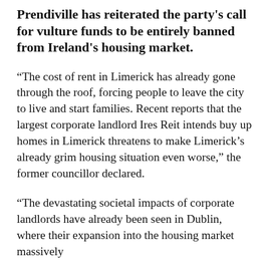Prendiville has reiterated the party's call for vulture funds to be entirely banned from Ireland's housing market.
“The cost of rent in Limerick has already gone through the roof, forcing people to leave the city to live and start families. Recent reports that the largest corporate landlord Ires Reit intends buy up homes in Limerick threatens to make Limerick’s already grim housing situation even worse,” the former councillor declared.
“The devastating societal impacts of corporate landlords have already been seen in Dublin, where their expansion into the housing market massively